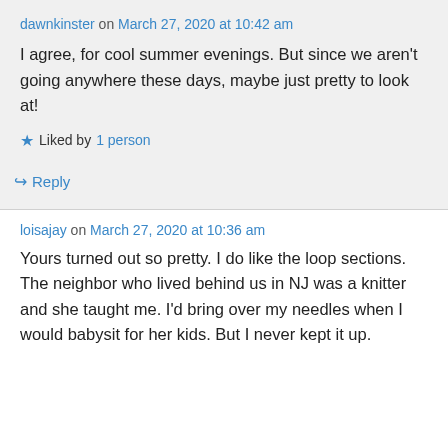dawnkinster on March 27, 2020 at 10:42 am
I agree, for cool summer evenings. But since we aren't going anywhere these days, maybe just pretty to look at!
★ Liked by 1 person
↳ Reply
loisajay on March 27, 2020 at 10:36 am
Yours turned out so pretty. I do like the loop sections. The neighbor who lived behind us in NJ was a knitter and she taught me. I'd bring over my needles when I would babysit for her kids. But I never kept it up.